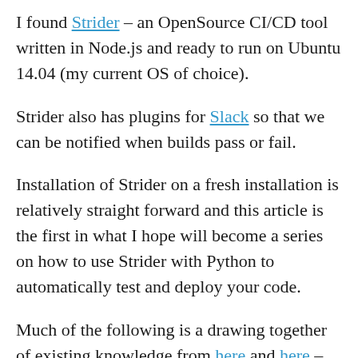I found Strider – an OpenSource CI/CD tool written in Node.js and ready to run on Ubuntu 14.04 (my current OS of choice).
Strider also has plugins for Slack so that we can be notified when builds pass or fail.
Installation of Strider on a fresh installation is relatively straight forward and this article is the first in what I hope will become a series on how to use Strider with Python to automatically test and deploy your code.
Much of the following is a drawing together of existing knowledge from here and here – the main answer seems to be that installing Node.JS from